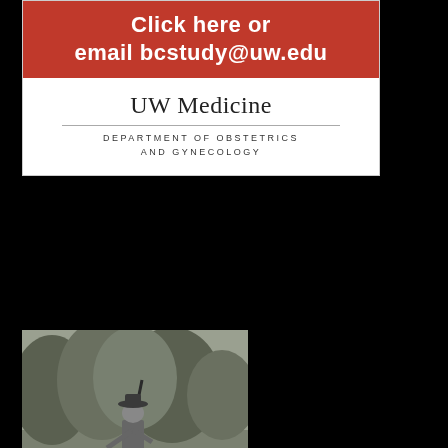[Figure (infographic): UW Medicine advertisement: red banner with 'Click here or email bcstudy@uw.edu' text, white section with UW Medicine logo and Department of Obstetrics and Gynecology]
[Figure (infographic): Muckleshoot Indian Tribe advertisement with black and white historical photo of a person on a boat, navy blue section with tribe logo and text 'OUR SEATTLE HERITAGE RUNS DEEP']